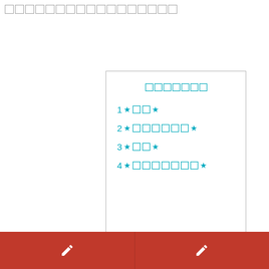□□□□□□□□□□□□□□□□
[Figure (screenshot): A card/panel showing a numbered list with 4 items, each with star-bracket placeholders in teal/cyan color, with a title row of placeholder squares at the top]
★□□★
" You got invited to your boss's house.
[Figure (screenshot): Bottom navigation bar with two red sections each containing a pencil/edit icon]